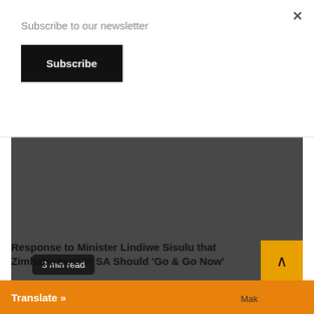Subscribe to our newsletter
Subscribe
[Figure (photo): Dark gray placeholder image area with a '3 min read' badge in the bottom left corner]
3 min read
Special Stories
Response to Minister Lindiwe Sisulu that Zimbabweans In SA Should 'Go & Go Now'
Mak
Translate »